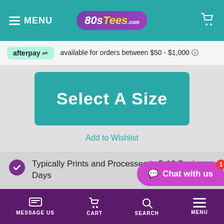MENU | 80sTees.com | Cart
afterpay available for orders between $50 - $1,000 ⓘ
Select A Size
Add to Wishlist
Typically Prints and Processes in 5-10 Business Days
Free shipping on orders above $10
Guaranteed to be free from defects
MESSAGE US | CART | SEARCH | MENU